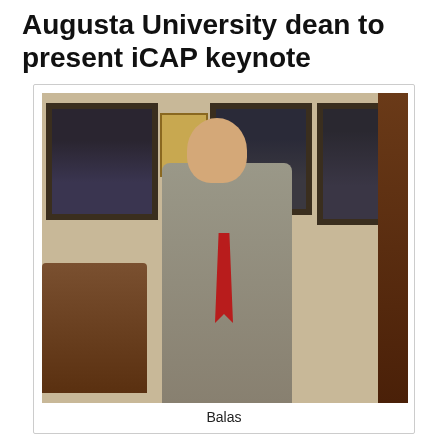Augusta University dean to present iCAP keynote
[Figure (photo): Photo of a man in a gray suit with a red tie, arms crossed, standing in an office with framed portraits on the wall behind him and chairs to his left.]
Balas
Dr. Aostan Balas, dean from August (Georgia)